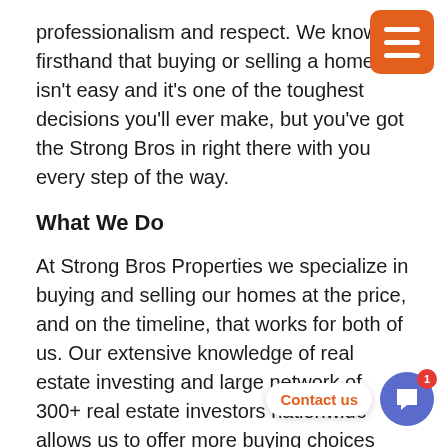professionalism and respect. We know firsthand that buying or selling a home isn't easy and it's one of the toughest decisions you'll ever make, but you've got the Strong Bros in right there with you every step of the way.
What We Do
At Strong Bros Properties we specialize in buying and selling our homes at the price, and on the timeline, that works for both of us. Our extensive knowledge of real estate investing and large network of 300+ real estate investors nationwide allows us to offer more buying choices and a wide variety of selling options for all types of home buyers and sellers, including financially distressed homeowners. Our mission is to work hand in hand with all parties and to handle every situation with the utmost professionalism and care.